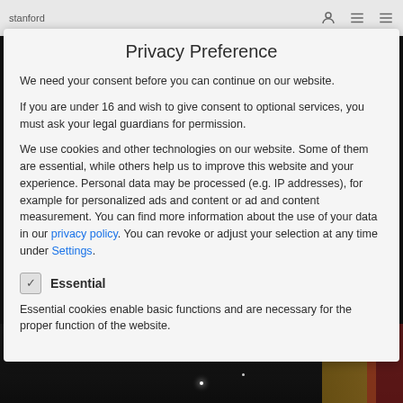stanford
Privacy Preference
We need your consent before you can continue on our website.
If you are under 16 and wish to give consent to optional services, you must ask your legal guardians for permission.
We use cookies and other technologies on our website. Some of them are essential, while others help us to improve this website and your experience. Personal data may be processed (e.g. IP addresses), for example for personalized ads and content or ad and content measurement. You can find more information about the use of your data in our privacy policy. You can revoke or adjust your selection at any time under Settings.
Essential
Essential cookies enable basic functions and are necessary for the proper function of the website.
[Figure (photo): Dark interior room photo visible at the bottom of the page behind the modal overlay]